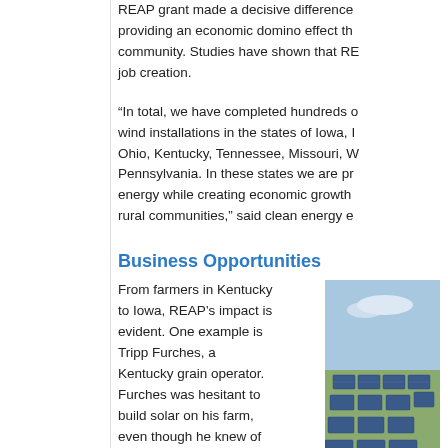REAP grant made a decisive difference providing an economic domino effect th community. Studies have shown that RE job creation.
“In total, we have completed hundreds o wind installations in the states of Iowa, Ohio, Kentucky, Tennessee, Missouri, W Pennsylvania. In these states we are pr energy while creating economic growth rural communities,” said clean energy e
Business Opportunities
From farmers in Kentucky to Iowa, REAP’s impact is evident. One example is Tripp Furches, a Kentucky grain operator. Furches was hesitant to build solar on his farm, even though he knew of the long term benefits it would have. As with so many farmers, Furches’ input costs were not going
[Figure (photo): Aerial or ground-level photo of solar panels installed on a farm, with crops or fields visible in the background.]